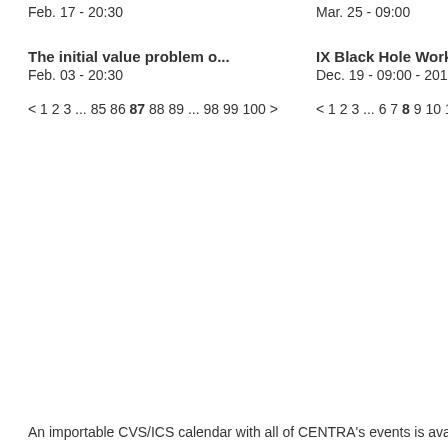Feb. 17 - 20:30
Mar. 25 - 09:00
Login
The initial value problem o...
Feb. 03 - 20:30
IX Black Hole Workshop
Dec. 19 - 09:00 - 2016 - 09:0
< 1 2 3 ... 85 86 87 88 89 ... 98 99 100 >
< 1 2 3 ... 6 7 8 9 10 11 12 13
An importable CVS/ICS calendar with all of CENTRA's events is avail